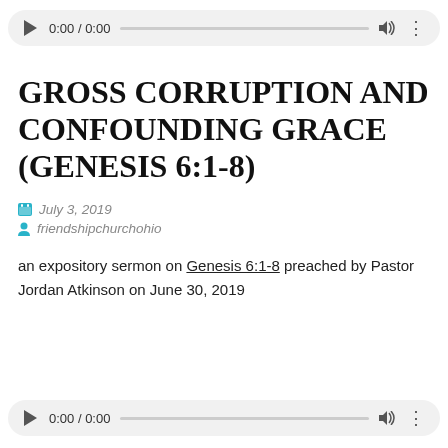[Figure (screenshot): Audio player bar at top showing 0:00 / 0:00 with play button, seek bar, volume and more options icons]
GROSS CORRUPTION AND CONFOUNDING GRACE (GENESIS 6:1-8)
July 3, 2019
friendshipchurchohio
an expository sermon on Genesis 6:1-8 preached by Pastor Jordan Atkinson on June 30, 2019
[Figure (screenshot): Audio player bar at bottom showing 0:00 / 0:00 with play button, seek bar, volume and more options icons]